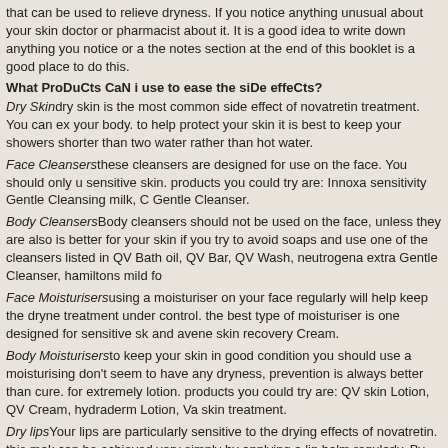that can be used to relieve dryness. If you notice anything unusual about your skin doctor or pharmacist about it. It is a good idea to write down anything you notice or a the notes section at the end of this booklet is a good place to do this.
What ProDuCts CaN i use to ease the siDe effeCts?
Dry Skindry skin is the most common side effect of novatretin treatment. You can ex your body. to help protect your skin it is best to keep your showers shorter than two water rather than hot water.
Face Cleansersthese cleansers are designed for use on the face. You should only u sensitive skin. products you could try are: Innoxa sensitivity Gentle Cleansing milk, C Gentle Cleanser.
Body CleansersBody cleansers should not be used on the face, unless they are also is better for your skin if you try to avoid soaps and use one of the cleansers listed in QV Bath oil, QV Bar, QV Wash, neutrogena extra Gentle Cleanser, hamiltons mild fo
Face Moisturisersusing a moisturiser on your face regularly will help keep the dryne treatment under control. the best type of moisturiser is one designed for sensitive sk and avene skin recovery Cream.
Body Moisturisersto keep your skin in good condition you should use a moisturising don't seem to have any dryness, prevention is always better than cure. for extremely lotion. products you could try are: QV skin Lotion, QV Cream, hydraderm Lotion, Va skin treatment.
Dry lipsYour lips are particularly sensitive to the drying effects of novatretin. this mak can be achieved very simply by applying a lip balm regularly. By applying a lip balm your lips from becoming dry and cracked. make sure you also pay attention to the c cracking. a lip balm that contains a sunscreen is best. You should carry a tube of lip see your local doctor if your lips become very cracked or begin bleeding.